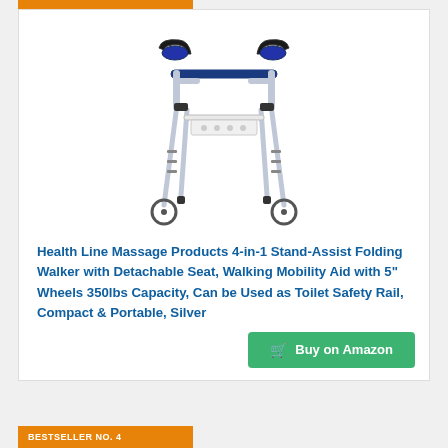[Figure (photo): Photo of a silver medical walker with wheels, blue handles, detachable seat, and adjustable legs]
Health Line Massage Products 4-in-1 Stand-Assist Folding Walker with Detachable Seat, Walking Mobility Aid with 5" Wheels 350lbs Capacity, Can be Used as Toilet Safety Rail, Compact & Portable, Silver
Buy on Amazon
BESTSELLER NO. 4